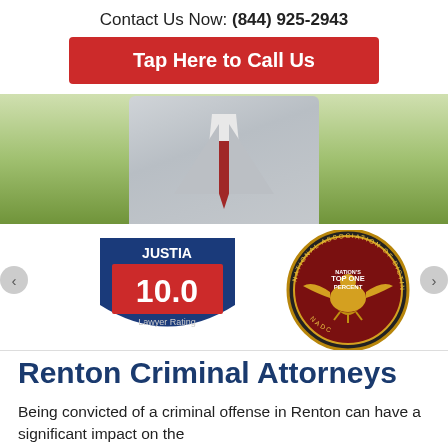Contact Us Now: (844) 925-2943
Tap Here to Call Us
[Figure (photo): Person in a grey suit with red tie, standing outdoors near a river with green trees in the background]
[Figure (logo): Justia 10.0 Lawyer Rating badge - blue shield shape with red panel showing 10.0 score]
[Figure (logo): National Association of Distinguished Counsel - Nation's Top One Percent circular seal with gold eagle]
Renton Criminal Attorneys
Being convicted of a criminal offense in Renton can have a significant impact on the